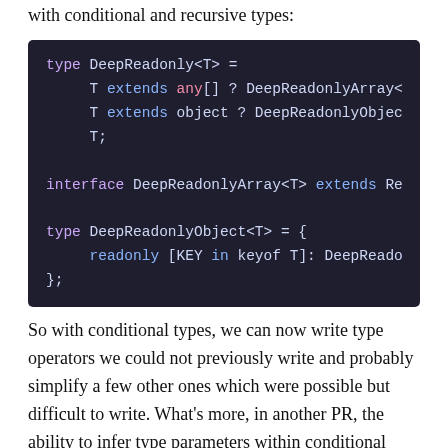We can implement the revised DeepReadonly() type operator with conditional and recursive types:
[Figure (screenshot): Code block on dark background showing TypeScript type definitions for DeepReadonly, DeepReadonlyArray, and DeepReadonlyObject using conditional and recursive types]
So with conditional types, we can now write type operators we could not previously write and probably simplify a few other ones which were possible but difficult to write. What's more, in another PR, the ability to infer type parameters within conditional types